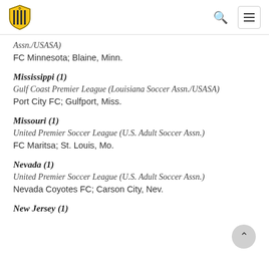Deportivo logo, search icon, menu button
Assn./USASA)
FC Minnesota; Blaine, Minn.
Mississippi (1)
Gulf Coast Premier League (Louisiana Soccer Assn./USASA)
Port City FC; Gulfport, Miss.
Missouri (1)
United Premier Soccer League (U.S. Adult Soccer Assn.)
FC Maritsa; St. Louis, Mo.
Nevada (1)
United Premier Soccer League (U.S. Adult Soccer Assn.)
Nevada Coyotes FC; Carson City, Nev.
New Jersey (1)